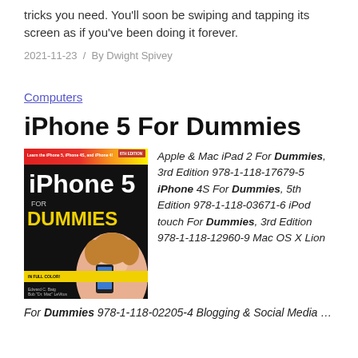tricks you need. You'll soon be swiping and tapping its screen as if you've been doing it forever.
2021-11-23  /  By Dwight Spivey
Computers
iPhone 5 For Dummies
[Figure (photo): Book cover of iPhone 5 For Dummies showing a woman holding an iPhone against a black background with yellow DUMMIES text]
Apple & Mac iPad 2 For Dummies, 3rd Edition 978-1-118-17679-5 iPhone 4S For Dummies, 5th Edition 978-1-118-03671-6 iPod touch For Dummies, 3rd Edition 978-1-118-12960-9 Mac OS X Lion For Dummies 978-1-118-02205-4 Blogging & Social Media ...